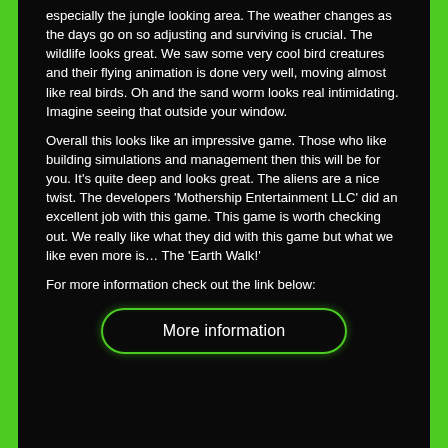especially the jungle looking area. The weather changes as the days go on so adjusting and surviving is crucial. The wildlife looks great. We saw some very cool bird creatures and their flying animation is done very well, moving almost like real birds. Oh and the sand worm looks real intimidating. Imagine seeing that outside your window.
Overall this looks like an impressive game. Those who like building simulations and management then this will be for you. It's quite deep and looks great. The aliens are a nice twist. The developers 'Mothership Entertainment LLC' did an excellent job with this game. This game is worth checking out. We really like what they did with this game but what we like even more is… The 'Earth Walk!'
For more information check out the link below:
[Figure (other): A rounded button with green border labeled 'More information' on dark background]